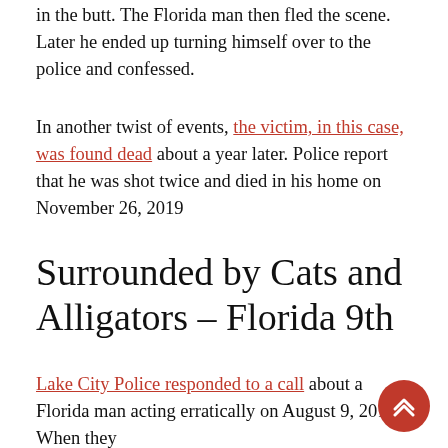in the butt. The Florida man then fled the scene. Later he ended up turning himself over to the police and confessed.
In another twist of events, the victim, in this case, was found dead about a year later. Police report that he was shot twice and died in his home on November 26, 2019
Surrounded by Cats and Alligators – Florida 9th
Lake City Police responded to a call about a Florida man acting erratically on August 9, 2018. When they